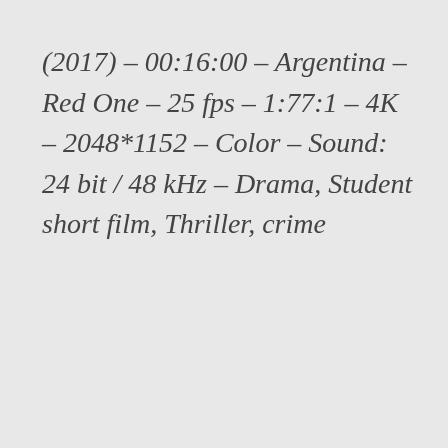(2017) – 00:16:00 – Argentina – Red One – 25 fps – 1:77:1 – 4K – 2048*1152 – Color – Sound: 24 bit / 48 kHz – Drama, Student short film, Thriller, crime